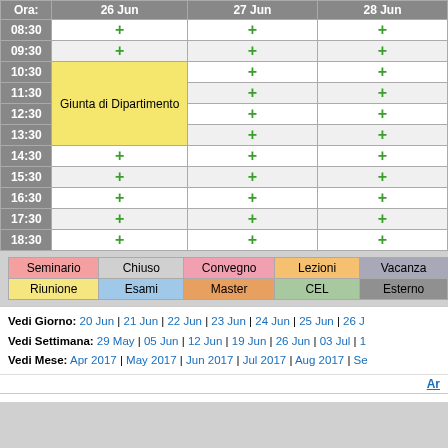| Ora: | 26 Jun | 27 Jun | 28 Jun |
| --- | --- | --- | --- |
| 08:30 | + | + | + |
| 09:30 | + | + | + |
| 10:30 | Giunta di Dipartimento | + | + |
| 11:30 | " | + | + |
| 12:30 | " | + | + |
| 13:30 | " | + | + |
| 14:30 | + | + | + |
| 15:30 | + | + | + |
| 16:30 | + | + | + |
| 17:30 | + | + | + |
| 18:30 | + | + | + |
| Seminario | Chiuso | Convegno | Lezioni | Vacanza |
| --- | --- | --- | --- | --- |
| Riunione | Esami | Master | CEL | Esterno |
Vedi Giorno: 20 Jun | 21 Jun | 22 Jun | 23 Jun | 24 Jun | 25 Jun | 26 J…
Vedi Settimana: 29 May | 05 Jun | 12 Jun | 19 Jun | 26 Jun | 03 Jul | 1…
Vedi Mese: Apr 2017 | May 2017 | Jun 2017 | Jul 2017 | Aug 2017 | Se…